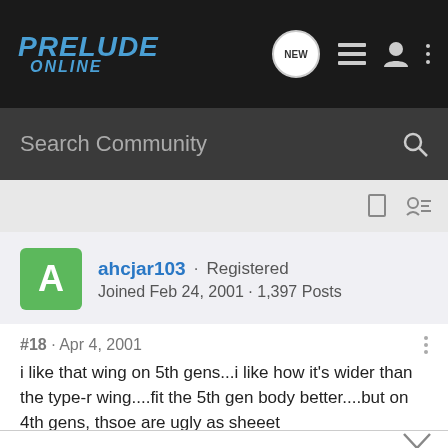PRELUDE ONLINE
Search Community
ahcjar103 · Registered
Joined Feb 24, 2001 · 1,397 Posts
#18 · Apr 4, 2001
i like that wing on 5th gens...i like how it's wider than the type-r wing....fit the 5th gen body better....but on 4th gens, thsoe are ugly as sheeet